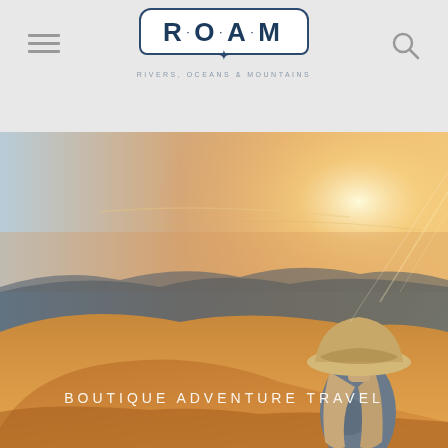R·O·A·M — RIVERS, OCEANS & MOUNTAINS
[Figure (photo): Hero image of a woman wearing a wide-brimmed hat viewed from behind, standing on golden sand dunes at sunset with mountains in the background and warm orange-golden sky]
BOUTIQUE ADVENTURE TRAVEL